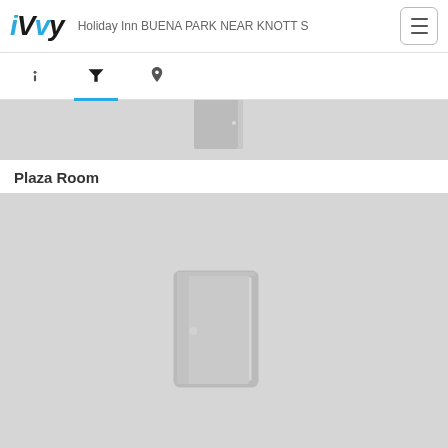iVvy - Holiday Inn BUENA PARK NEAR KNOTT S
[Figure (screenshot): Top navigation bar with iVvy logo, hotel name, and hamburger menu icon]
[Figure (screenshot): Tab bar with info (i), filter (funnel), and location (pin) icons; filter tab is active with blue underline]
[Figure (photo): Gray placeholder image for room above Plaza Room label, showing partial door icon at top]
Plaza Room
[Figure (photo): Gray placeholder image for Plaza Room showing a door icon in the center]